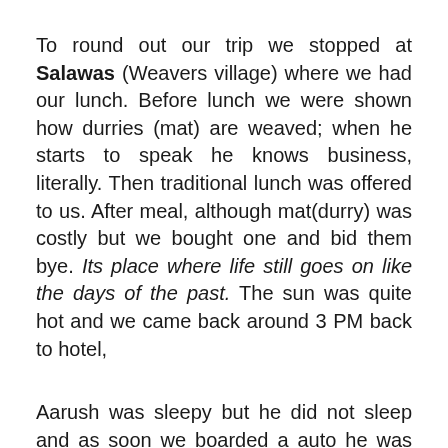To round out our trip we stopped at Salawas (Weavers village) where we had our lunch. Before lunch we were shown how durries (mat) are weaved; when he starts to speak he knows business, literally. Then traditional lunch was offered to us. After meal, although mat(durry) was costly but we bought one and bid them bye. Its place where life still goes on like the days of the past. The sun was quite hot and we came back around 3 PM back to hotel,
Aarush was sleepy but he did not sleep and as soon we boarded a auto he was sleeping. We went to C-Road, sardarpura which is a lively part of Jodhpur with many shops and eatery. The main purpose for going out was to dine at Gypsy. As we reached quite early Aarush